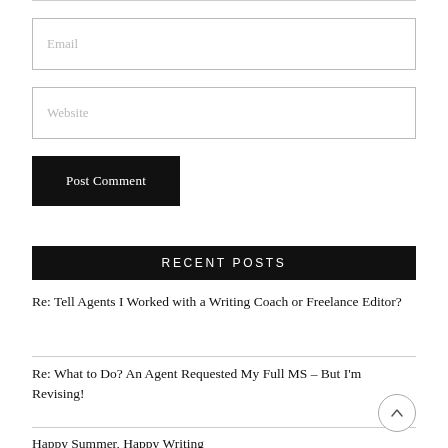Email
Website
Post Comment
RECENT POSTS
Re: Tell Agents I Worked with a Writing Coach or Freelance Editor?
Re: What to Do? An Agent Requested My Full MS – But I'm Revising!
Happy Summer, Happy Writing